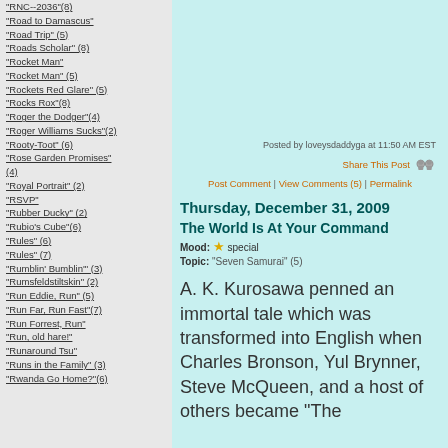"RNC--2036"(8)
"Road to Damascus"
"Road Trip" (5)
"Roads Scholar" (8)
"Rocket Man"
"Rocket Man" (5)
"Rockets Red Glare" (5)
"Rocks Rox"(8)
"Roger the Dodger"(4)
"Roger Williams Sucks"(2)
"Rooty-Toot" (6)
"Rose Garden Promises" (4)
"Royal Portrait" (2)
"RSVP"
"Rubber Ducky" (2)
"Rubio's Cube"(6)
"Rules" (6)
"Rules" (7)
"Rumblin' Bumblin'" (3)
"Rumsfeldstiltskin" (2)
"Run Eddie, Run" (5)
"Run Far, Run Fast"(7)
"Run Forrest, Run"
"Run, old hare!"
"Runaround Tsu"
"Runs in the Family" (3)
"Rwanda Go Home?"(6)
Posted by loveysdaddyga at 11:50 AM EST
Share This Post
Post Comment | View Comments (5) | Permalink
Thursday, December 31, 2009
The World Is At Your Command
Mood: special
Topic: "Seven Samurai" (5)
A. K. Kurosawa penned an immortal tale which was transformed into English when Charles Bronson, Yul Brynner, Steve McQueen, and a host of others became "The